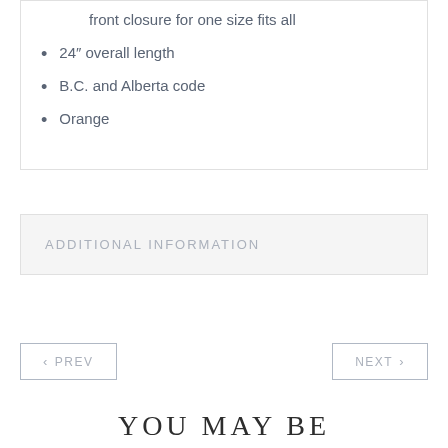front closure for one size fits all
24" overall length
B.C. and Alberta code
Orange
ADDITIONAL INFORMATION
< PREV
NEXT >
YOU MAY BE